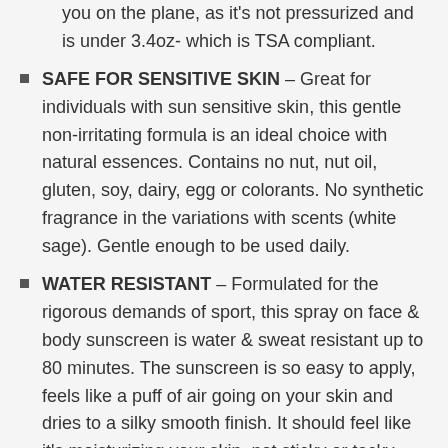you on the plane, as it's not pressurized and is under 3.4oz- which is TSA compliant.
SAFE FOR SENSITIVE SKIN – Great for individuals with sun sensitive skin, this gentle non-irritating formula is an ideal choice with natural essences. Contains no nut, nut oil, gluten, soy, dairy, egg or colorants. No synthetic fragrance in the variations with scents (white sage). Gentle enough to be used daily.
WATER RESISTANT – Formulated for the rigorous demands of sport, this spray on face & body sunscreen is water & sweat resistant up to 80 minutes. The sunscreen is so easy to apply, feels like a puff of air going on your skin and dries to a silky smooth finish. It should feel like it's moisturizing your skin, not sticky or tacky. Non-greasy formula with superior antioxidant protection, diminishes signs of